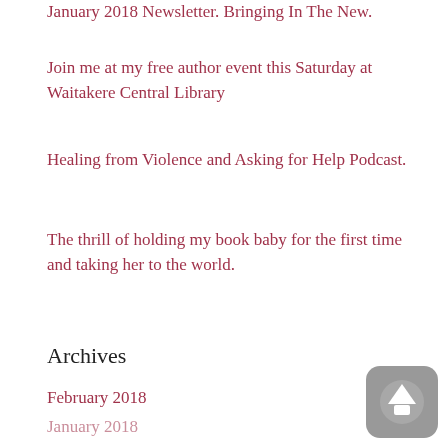January 2018 Newsletter. Bringing In The New.
Join me at my free author event this Saturday at Waitakere Central Library
Healing from Violence and Asking for Help Podcast.
The thrill of holding my book baby for the first time and taking her to the world.
Archives
February 2018
January 2018
July 2017
January 2017